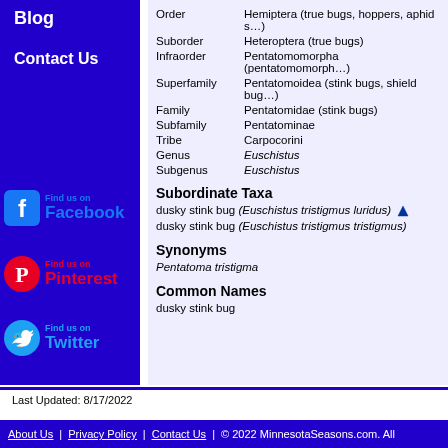Blog
Contact Us
[Figure (logo): Find us on Facebook logo with blue text]
[Figure (logo): Find us on Pinterest logo with red text]
[Figure (logo): Find us on Twitter logo with blue text]
| Rank | Classification |
| --- | --- |
| Order | Hemiptera (true bugs, hoppers, aphids…) |
| Suborder | Heteroptera (true bugs) |
| Infraorder | Pentatomomorpha (pentatomomorph…) |
| Superfamily | Pentatomoidea (stink bugs, shield bug…) |
| Family | Pentatomidae (stink bugs) |
| Subfamily | Pentatominae |
| Tribe | Carpocorini |
| Genus | Euschistus |
| Subgenus | Euschistus |
Subordinate Taxa
dusky stink bug (Euschistus tristigmus luridus)
dusky stink bug (Euschistus tristigmus tristigmus)
Synonyms
Pentatoma tristigma
Common Names
dusky stink bug
Last Updated: 8/17/2022
About Us | Privacy Policy | Contact Us | © 2022 MinnesotaSeasons.com. All